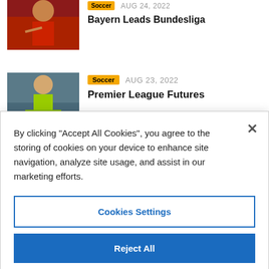[Figure (photo): Soccer player in red jersey (partially visible, cropped at top)]
Bayern Leads Bundesliga
[Figure (photo): Soccer player in lime green jersey running]
Soccer  AUG 23, 2022
Premier League Futures
By clicking "Accept All Cookies", you agree to the storing of cookies on your device to enhance site navigation, analyze site usage, and assist in our marketing efforts.
Cookies Settings
Reject All
Accept All Cookies